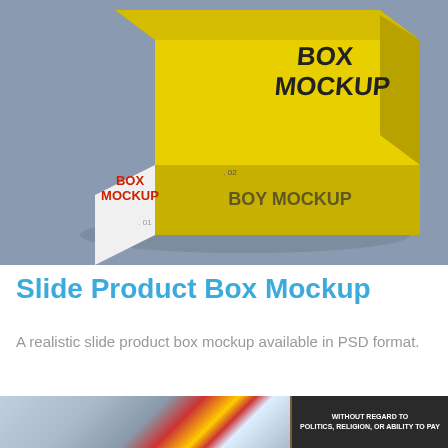[Figure (photo): A yellow and white slide product box mockup on a gray background. The top face is yellow with 'BOX MOCKUP' text in black. The front face is white with 'BOX MOCKUP' in red and '.01' in small text. The side face is yellow with 'BOX MOCKUP' text and '.02'.]
Slide Product Box Mockup
A realistic slide product box mockup available in PSD format.
[Figure (photo): Advertisement banner showing a cargo airplane being loaded with freight. Text overlay reads 'WITHOUT REGARD TO POLITICS, RELIGION, OR ABILITY TO PAY'.]